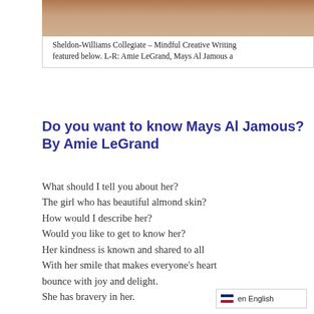[Figure (photo): Partial photo of people at Sheldon-Williams Collegiate, cropped at top]
Sheldon-Williams Collegiate – Mindful Creative Writing featured below. L-R: Amie LeGrand, Mays Al Jamous a
Do you want to know Mays Al Jamous?
By Amie LeGrand
What should I tell you about her?
The girl who has beautiful almond skin?
How would I describe her?
Would you like to get to know her?
Her kindness is known and shared to all
With her smile that makes everyone's heart bounce with joy and delight.
She has bravery in her.